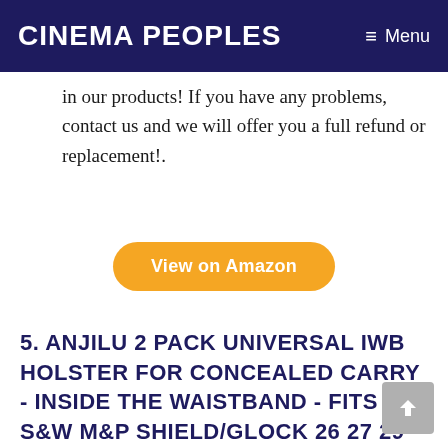Cinema Peoples   ≡ Menu
in our products! If you have any problems, contact us and we will offer you a full refund or replacement!.
View on Amazon
5. ANJILU 2 PACK UNIVERSAL IWB HOLSTER FOR CONCEALED CARRY - INSIDE THE WAISTBAND - FITS S&W M&P SHIELD/GLOCK 26 27 29 30 33 42 43 / SPRINGFIELD XD XDS/RUGER LC9